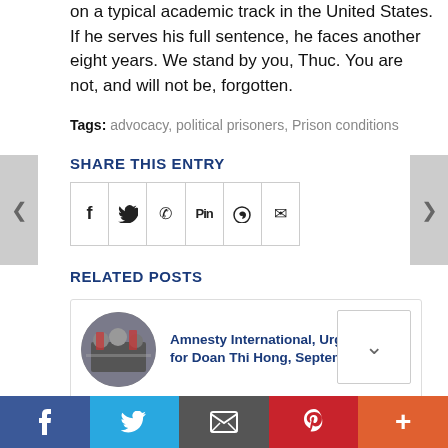on a typical academic track in the United States. If he serves his full sentence, he faces another eight years. We stand by you, Thuc. You are not, and will not be, forgotten.
Tags: advocacy, political prisoners, Prison conditions
SHARE THIS ENTRY
[Figure (other): Row of 6 social share icons: Facebook (f), Twitter bird, WhatsApp, Pinterest (Pin), Reddit, Email in a bordered grid]
RELATED POSTS
[Figure (other): Related post card: circular thumbnail photo of protest crowd, title 'Amnesty International, Urgent Action for Doan Thi Hong, September 2019' with scroll-up button]
[Figure (other): Partial second related post card with circular thumbnail]
[Figure (other): Bottom social sharing bar with Facebook, Twitter, Email, Pinterest, and More (+) buttons]